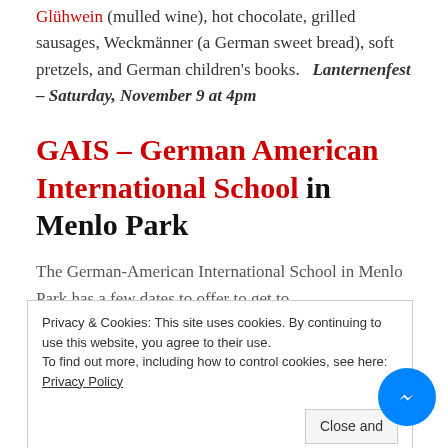Glühwein (mulled wine), hot chocolate, grilled sausages, Weckmänner (a German sweet bread), soft pretzels, and German children's books.   Lanternenfest – Saturday, November 9 at 4pm
GAIS – German American International School in Menlo Park
The German-American International School in Menlo Park has a few dates to offer to get to
Privacy & Cookies: This site uses cookies. By continuing to use this website, you agree to their use.
To find out more, including how to control cookies, see here: Privacy Policy
November 8, 2013